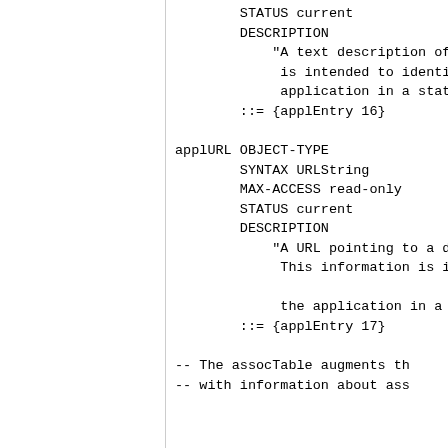STATUS current
        DESCRIPTION
            "A text description of
             is intended to identit
             application in a statu
        ::= {applEntry 16}

applURL OBJECT-TYPE
        SYNTAX URLString
        MAX-ACCESS read-only
        STATUS current
        DESCRIPTION
            "A URL pointing to a de
             This information is ir

             the application in a s
        ::= {applEntry 17}

-- The assocTable augments th
-- with information about ass